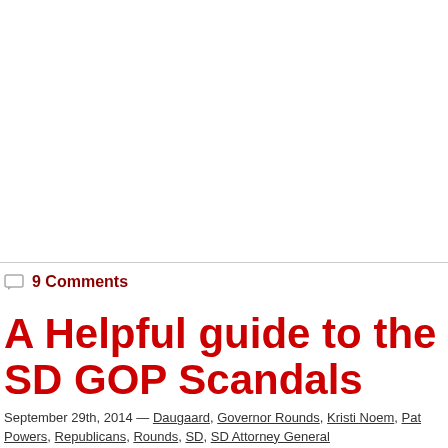9 Comments
A Helpful guide to the SD GOP Scandals
September 29th, 2014 — Daugaard, Governor Rounds, Kristi Noem, Pat Powers, Republicans, Rounds, SD, SD Attorney General